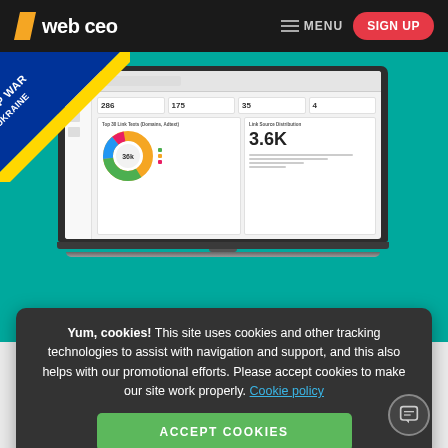[Figure (screenshot): WebCEO website header navigation bar with logo, MENU button, and red SIGN UP button on dark background]
[Figure (screenshot): Laptop mockup showing WebCEO dashboard with donut chart (Top 30 Link Texts) and 3.6K metric (Link Source Distribution) on teal hero background]
[Figure (infographic): Stop War In Ukraine diagonal badge overlay on top-left corner of hero image]
Yum, cookies! This site uses cookies and other tracking technologies to assist with navigation and support, and this also helps with our promotional efforts. Please accept cookies to make our site work properly. Cookie policy
ACCEPT COOKIES